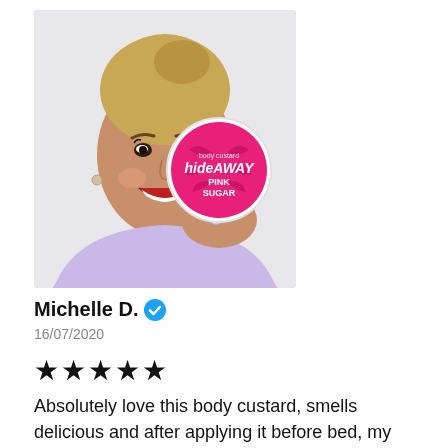[Figure (photo): Woman smiling and holding a pink circular container of Hideaway Pink Sugar body custard product]
Michelle D. ✔
16/07/2020
★★★★★
Absolutely love this body custard, smells delicious and after applying it before bed, my skin is still soft n smooth the next morning, can't get